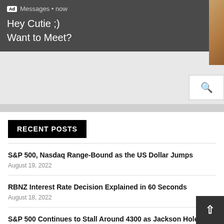[Figure (screenshot): Ad overlay notification with dark gray background showing 'Ad Messages • now' header, text 'Hey Cutie ;) Want to Meet?' and a close button (X). A profile image thumbnail is visible on the right side.]
RECENT POSTS
S&P 500, Nasdaq Range-Bound as the US Dollar Jumps
August 19, 2022
RBNZ Interest Rate Decision Explained in 60 Seconds
August 18, 2022
S&P 500 Continues to Stall Around 4300 as Jackson Hole Looms
August 18, 2022